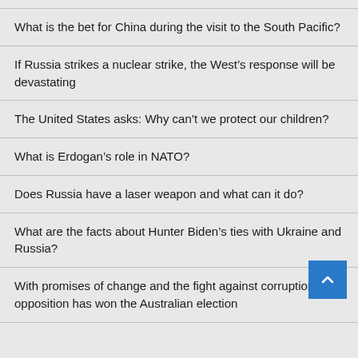What is the bet for China during the visit to the South Pacific?
If Russia strikes a nuclear strike, the West’s response will be devastating
The United States asks: Why can’t we protect our children?
What is Erdogan’s role in NATO?
Does Russia have a laser weapon and what can it do?
What are the facts about Hunter Biden’s ties with Ukraine and Russia?
With promises of change and the fight against corruption, the opposition has won the Australian election